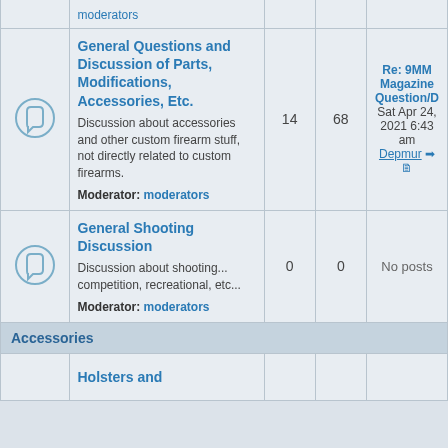|  | Forum | Topics | Posts | Last post |
| --- | --- | --- | --- | --- |
| [icon] | General Questions and Discussion of Parts, Modifications, Accessories, Etc.
Discussion about accessories and other custom firearm stuff, not directly related to custom firearms.
Moderator: moderators | 14 | 68 | Re: 9MM Magazine Question/D
Sat Apr 24, 2021 6:43 am
Depmur |
| [icon] | General Shooting Discussion
Discussion about shooting... competition, recreational, etc...
Moderator: moderators | 0 | 0 | No posts |
Accessories
Holsters and